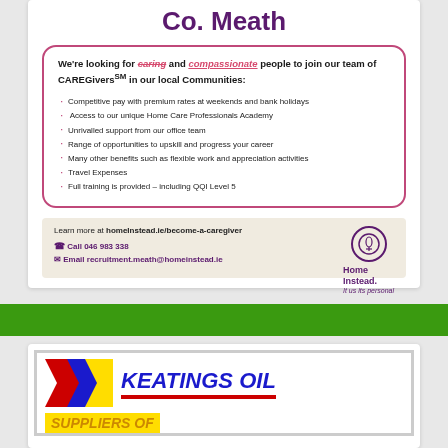Co. Meath
We're looking for caring and compassionate people to join our team of CAREGivers℠ in our local Communities:
Competitive pay with premium rates at weekends and bank holidays
Access to our unique Home Care Professionals Academy
Unrivalled support from our office team
Range of opportunities to upskill and progress your career
Many other benefits such as flexible work and appreciation activities
Travel Expenses
Full training is provided – including QQI Level 5
Learn more at homeInstead.ie/become-a-caregiver
Call 046 983 338
Email recruitment.meath@homeinstead.ie
[Figure (logo): Home Instead logo with tulip icon and tagline 'It us its personal']
[Figure (logo): Keatings Oil logo with coloured chevrons and company name in blue italic text, red underline, and SUPPLIERS OF in yellow/orange]